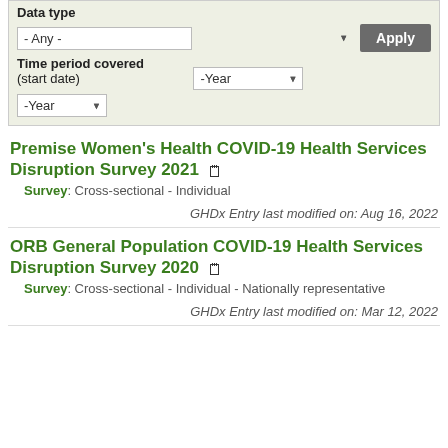Data type
- Any -
Apply
Time period covered (start date)
-Year
-Year
Premise Women's Health COVID-19 Health Services Disruption Survey 2021
Survey: Cross-sectional - Individual
GHDx Entry last modified on: Aug 16, 2022
ORB General Population COVID-19 Health Services Disruption Survey 2020
Survey: Cross-sectional - Individual - Nationally representative
GHDx Entry last modified on: Mar 12, 2022